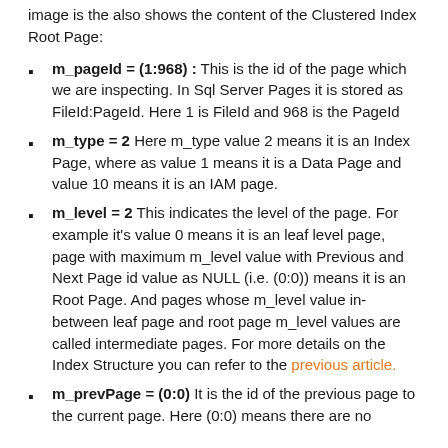image is the also shows the content of the Clustered Index Root Page:
m_pageId = (1:968) : This is the id of the page which we are inspecting. In Sql Server Pages it is stored as FileId:PageId. Here 1 is FileId and 968 is the PageId
m_type = 2 Here m_type value 2 means it is an Index Page, where as value 1 means it is a Data Page and value 10 means it is an IAM page.
m_level = 2 This indicates the level of the page. For example it's value 0 means it is an leaf level page, page with maximum m_level value with Previous and Next Page id value as NULL (i.e. (0:0)) means it is an Root Page. And pages whose m_level value in-between leaf page and root page m_level values are called intermediate pages. For more details on the Index Structure you can refer to the previous article.
m_prevPage = (0:0) It is the id of the previous page to the current page. Here (0:0) means there are no